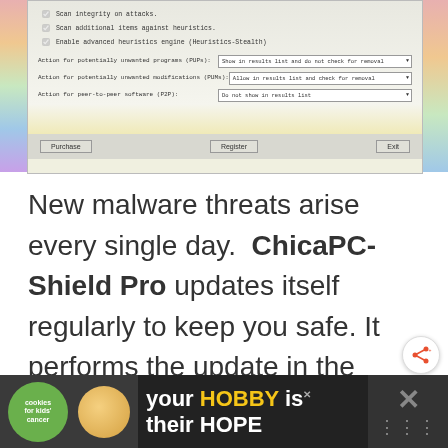[Figure (screenshot): Screenshot of ChicaPC-Shield Pro settings dialog showing scan options, checkboxes for heuristics, and dropdown actions for PUPs, PUMs, and P2P software, with Purchase, Register, and Exit buttons at the bottom.]
New malware threats arise every single day.  ChicaPC-Shield Pro updates itself regularly to keep you safe. It performs the update in the background. I came back home from Mother's Day lunch to
[Figure (infographic): Advertisement banner: 'your HOBBY is their HOPE' with Cookies for Kids' Cancer logo and cookie image on dark background.]